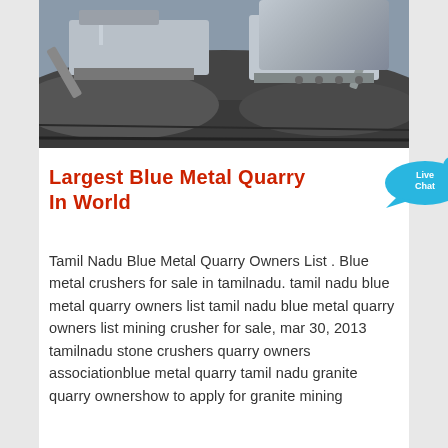[Figure (photo): Mining quarry site with large industrial crushing machines and conveyors on dark gravel/rock ground]
Largest Blue Metal Quarry In World
[Figure (other): Live Chat button bubble in cyan/blue color with an X close button]
Tamil Nadu Blue Metal Quarry Owners List . Blue metal crushers for sale in tamilnadu. tamil nadu blue metal quarry owners list tamil nadu blue metal quarry owners list mining crusher for sale, mar 30, 2013 tamilnadu stone crushers quarry owners associationblue metal quarry tamil nadu granite quarry ownershow to apply for granite mining